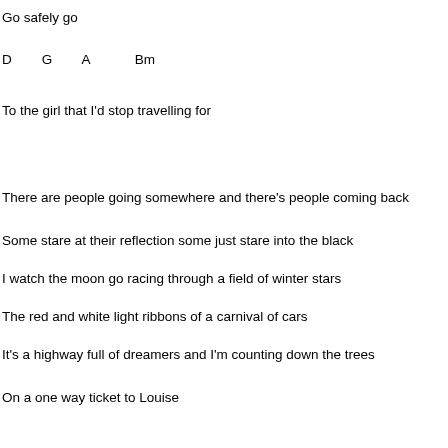Go safely go
D       G       A           Bm
To the girl that I'd stop travelling for
There are people going somewhere and there's people coming back
Some stare at their reflection some just stare into the black
I watch the moon go racing through a field of winter stars
The red and white light ribbons of a carnival of cars
It's a highway full of dreamers and I'm counting down the trees
On a one way ticket to Louise